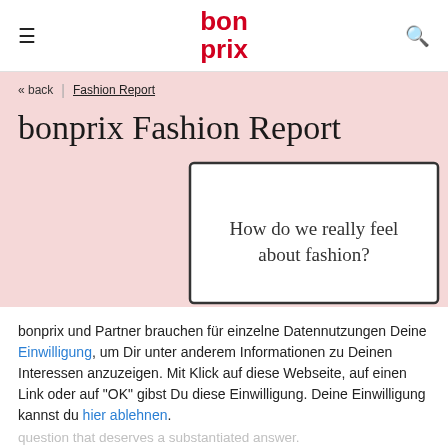bonprix
« back | Fashion Report
bonprix Fashion Report
[Figure (illustration): Sketch of a card/book with text 'How do we really feel about fashion?' on pink background]
bonprix und Partner brauchen für einzelne Datennutzungen Deine Einwilligung, um Dir unter anderem Informationen zu Deinen Interessen anzuzeigen. Mit Klick auf diese Webseite, auf einen Link oder auf "OK" gibst Du diese Einwilligung. Deine Einwilligung kannst du hier ablehnen.
OK